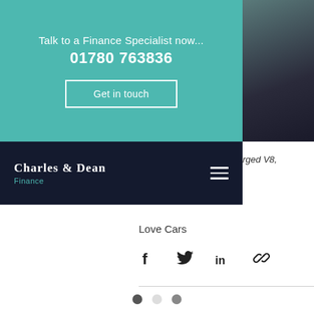Talk to a Finance Specialist now...
01780 763836
Get in touch
[Figure (photo): Dark photo of a car, partially visible on the right side]
rged V8,
[Figure (logo): Charles & Dean Finance logo — white serif text with teal subtitle on dark navy background]
Love Cars
[Figure (infographic): Social share icons: Facebook, Twitter, LinkedIn, link/chain]
[Figure (infographic): Carousel navigation dots: three dots, first dark, second light, third medium grey]